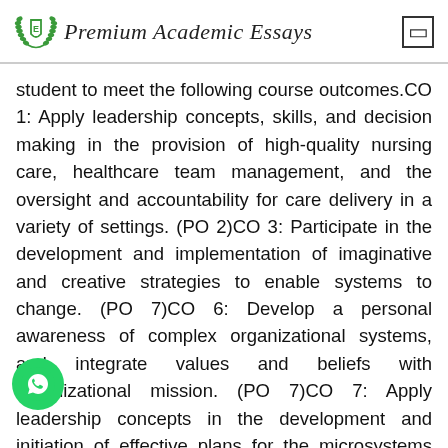Premium Academic Essays
student to meet the following course outcomes.CO 1: Apply leadership concepts, skills, and decision making in the provision of high-quality nursing care, healthcare team management, and the oversight and accountability for care delivery in a variety of settings. (PO 2)CO 3: Participate in the development and implementation of imaginative and creative strategies to enable systems to change. (PO 7)CO 6: Develop a personal awareness of complex organizational systems, and integrate values and beliefs with organizational mission. (PO 7)CO 7: Apply leadership concepts in the development and initiation of effective plans for the microsystems and system-wide practice improvements that will improve the quality of healthcare delivery. (POs 2 and 3)PointsThis assignment is worth 200 points.Directions1. Read